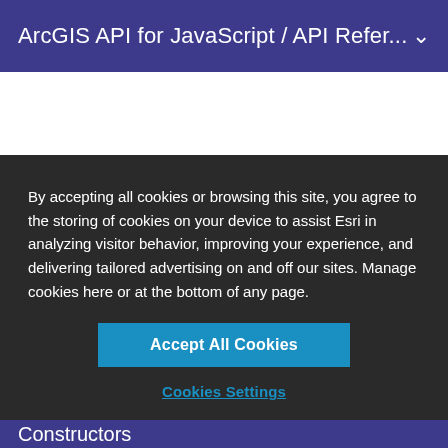ArcGIS API for JavaScript / API Refer... ∨
[Figure (screenshot): Code snippet showing JavaScript object with symbol property containing type: 'label-3d' and symbolLayers array, partially obscured by cookie consent modal]
By accepting all cookies or browsing this site, you agree to the storing of cookies on your device to assist Esri in analyzing visitor behavior, improving your experience, and delivering tailored advertising on and off our sites. Manage cookies here or at the bottom of any page.
Accept All Cookies
Cookies Settings
Constructors